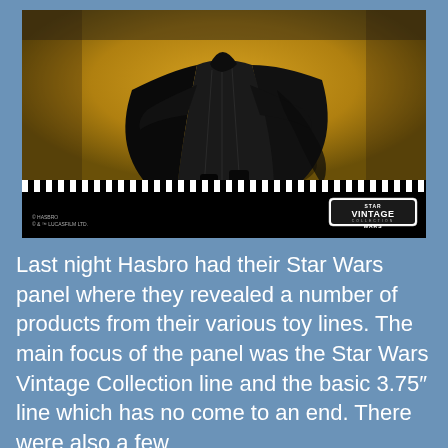[Figure (photo): A Star Wars Vintage Collection action figure in black robes/cloak (Kylo Ren style) posed against a golden-yellow gradient background. The packaging has a black bottom bar with white stripe and the Star Wars Vintage Collection logo in the lower right corner. Copyright text reads '© HASBRO / © & ™ LUCASFILM LTD.' in the lower left.]
Last night Hasbro had their Star Wars panel where they revealed a number of products from their various toy lines. The main focus of the panel was the Star Wars Vintage Collection line and the basic 3.75″ line which has no come to an end. There were also a few